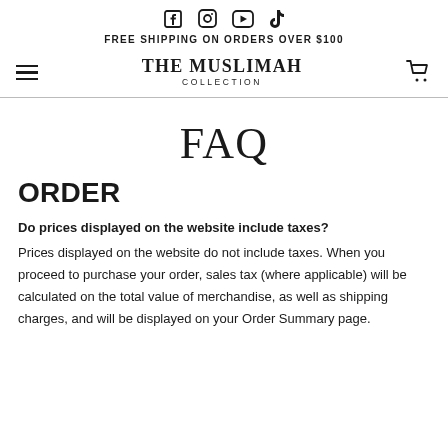FREE SHIPPING ON ORDERS OVER $100 | THE MUSLIMAH COLLECTION
FAQ
ORDER
Do prices displayed on the website include taxes? Prices displayed on the website do not include taxes. When you proceed to purchase your order, sales tax (where applicable) will be calculated on the total value of merchandise, as well as shipping charges, and will be displayed on your Order Summary page.